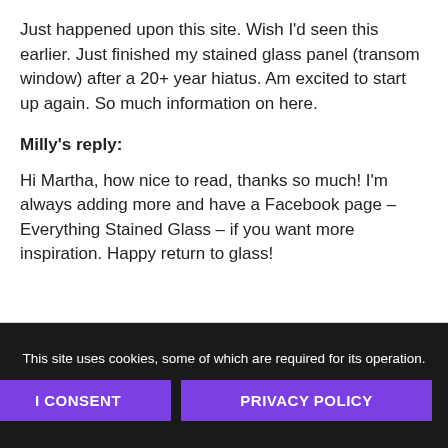Just happened upon this site. Wish I'd seen this earlier. Just finished my stained glass panel (transom window) after a 20+ year hiatus. Am excited to start up again. So much information on here.
Milly's reply:
Hi Martha, how nice to read, thanks so much! I'm always adding more and have a Facebook page – Everything Stained Glass – if you want more inspiration. Happy return to glass!
This site uses cookies, some of which are required for its operation.
I CONSENT   PRIVACY POLICY